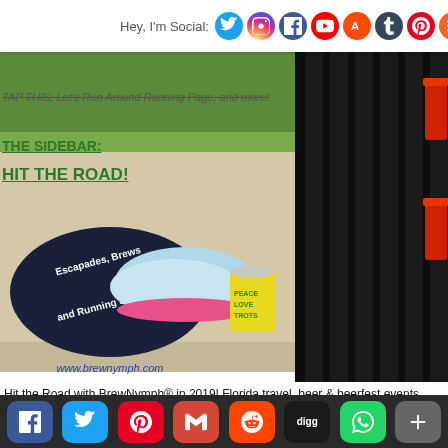Hey, I'm Social:
Highlighted Around Flo TAP THIS; Let's Run Around Running Page, and more!
THE SIDEBAR:
HIT THE ROAD!
[Figure (photo): Running shoes, a branded cap reading 'Escapades, Brews and Running Shoes', and a yellow beer koozie reading 'Peace Love Trots' on a sidewalk with grass background. URL: www.brewnymph.com]
[Figure (photo): Dark wooden chair with red drink visible, against dark background]
Hit the Road with BrewNymph® in 2019! Florida travel, beer & beerfest events, running, nature & photography! Check out the pages: Things to see & do, then have a beer! Escapades Brews and Running Shoes (tm)
Share buttons: Facebook, Twitter, Pinterest, Gmail, Reddit, Digg, WhatsApp, More